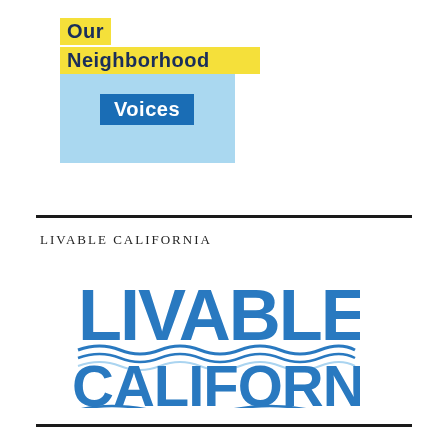[Figure (logo): Our Neighborhood Voices logo with yellow background text 'Our Neighborhood' and blue background text 'Voices', with light blue rectangular background]
LIVABLE CALIFORNIA
[Figure (logo): Livable California logo in blue with stylized letters and wave/water lines beneath]